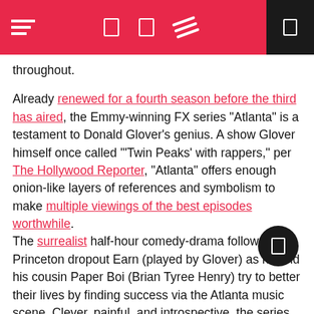[Navigation bar with hamburger menu, icons, and dark panel]
throughout.
Already renewed for a fourth season before the third has aired, the Emmy-winning FX series “Atlanta” is a testament to Donald Glover’s genius. A show Glover himself once called ‘’Twin Peaks’ with rappers,” per The Hollywood Reporter, “Atlanta” offers enough onion-like layers of references and symbolism to make multiple viewings of the best episodes worthwhile. The surrealist half-hour comedy-drama follows Princeton dropout Earn (played by Glover) as he and his cousin Paper Boi (Brian Tyree Henry) try to better their lives by finding success via the Atlanta music scene. Clever, painful, and introspective, the series brilliantly manages to explore complex racial and societal questions and defy genre boundaries without ever losing its footing as a cerebral dramedy.
Based on Luke Jennings’ thriller novella series